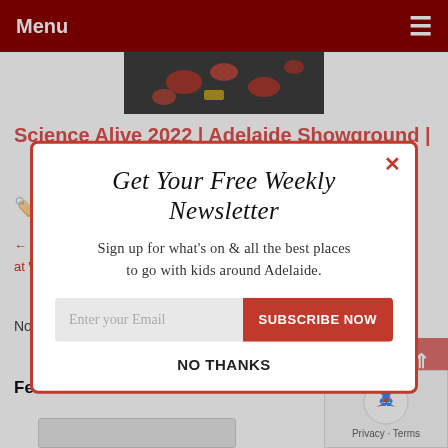Menu
[Figure (photo): Partial image visible at top center showing dark fabric with red/orange patterns]
Science Alive 2022 | Adelaide Showground |
T... (tag row partial)
← The... at Wa...
No c...
[Figure (infographic): Newsletter signup modal popup with red border. Title: Get Your Free Weekly Newsletter. Body: Sign up for what's on & all the best places to go with kids around Adelaide. Email input field with SUBSCRIBE NOW button. NO THANKS link.]
Feel free to leave us a comment
[Figure (other): reCAPTCHA widget in bottom right corner showing recycling arrows icon with Privacy · Terms text]